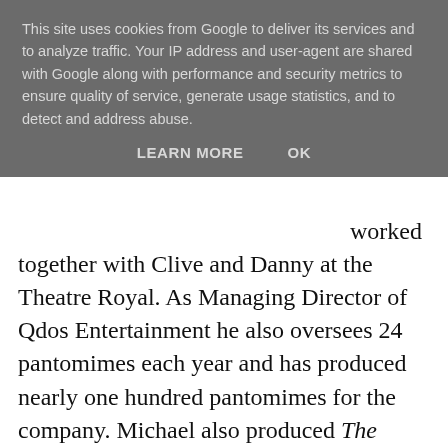This site uses cookies from Google to deliver its services and to analyze traffic. Your IP address and user-agent are shared with Google along with performance and security metrics to ensure quality of service, generate usage statistics, and to detect and address abuse.
LEARN MORE   OK
worked together with Clive and Danny at the Theatre Royal. As Managing Director of Qdos Entertainment he also oversees 24 pantomimes each year and has produced nearly one hundred pantomimes for the company. Michael also produced The Bodyguard in the West Endand is currently producing the spectacular new production of Barnum starring Brian Conley. His other musicals include Aspects of Love, The Witches of Eastwick, Chess, I Dreamed a Dream and Jolson and Co.